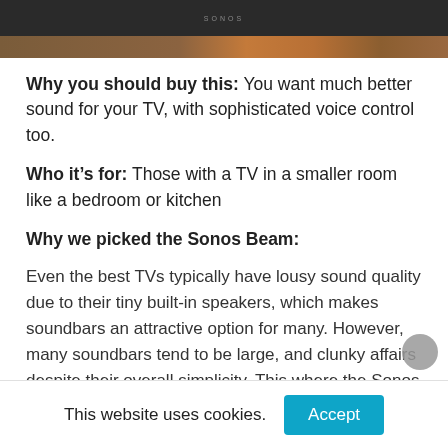[Figure (photo): Sonos soundbar product image — dark bar on top portion, wooden surface below]
Why you should buy this: You want much better sound for your TV, with sophisticated voice control too.
Who it’s for: Those with a TV in a smaller room like a bedroom or kitchen
Why we picked the Sonos Beam:
Even the best TVs typically have lousy sound quality due to their tiny built-in speakers, which makes soundbars an attractive option for many. However, many soundbars tend to be large, and clunky affairs despite their overall simplicity. This where the Sonos Beam comes in.
This website uses cookies.